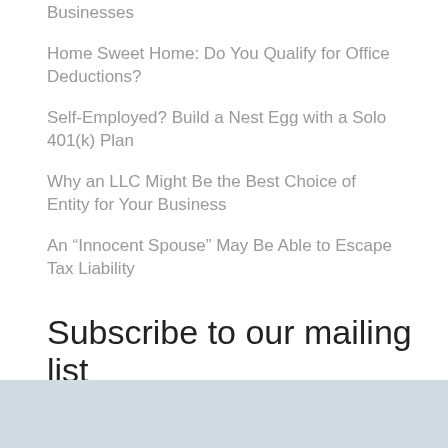Businesses
Home Sweet Home: Do You Qualify for Office Deductions?
Self-Employed? Build a Nest Egg with a Solo 401(k) Plan
Why an LLC Might Be the Best Choice of Entity for Your Business
An “Innocent Spouse” May Be Able to Escape Tax Liability
Subscribe to our mailing list
email address
Powered by Robly™